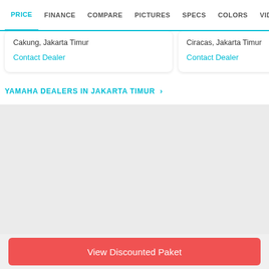PRICE  FINANCE  COMPARE  PICTURES  SPECS  COLORS  VIDEOS
Cakung, Jakarta Timur
Contact Dealer
Ciracas, Jakarta Timur
Contact Dealer
YAMAHA DEALERS IN JAKARTA TIMUR >
View Discounted Paket